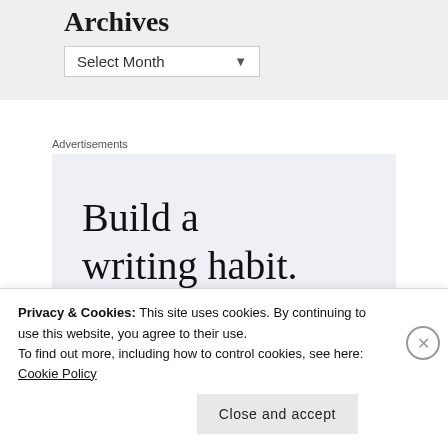Archives
Select Month
Advertisements
[Figure (other): Advertisement banner with text 'Build a writing habit.' on a light blue-grey background]
Privacy & Cookies: This site uses cookies. By continuing to use this website, you agree to their use.
To find out more, including how to control cookies, see here: Cookie Policy
Close and accept